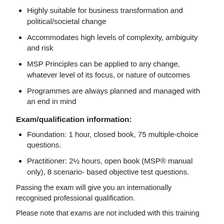Highly suitable for business transformation and political/societal change
Accommodates high levels of complexity, ambiguity and risk
MSP Principles can be applied to any change, whatever level of its focus, or nature of outcomes
Programmes are always planned and managed with an end in mind
Exam/qualification information:
Foundation: 1 hour, closed book, 75 multiple-choice questions.
Practitioner: 2½ hours, open book (MSP® manual only), 8 scenario- based objective test questions.
Passing the exam will give you an internationally recognised professional qualification.
Please note that exams are not included with this training